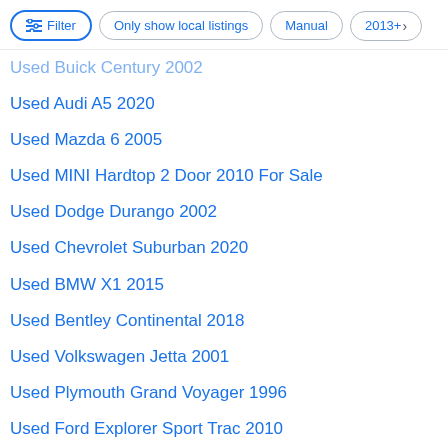Filter | Only show local listings | Manual | 2013+
Used Buick Century 2002
Used Audi A5 2020
Used Mazda 6 2005
Used MINI Hardtop 2 Door 2010 For Sale
Used Dodge Durango 2002
Used Chevrolet Suburban 2020
Used BMW X1 2015
Used Bentley Continental 2018
Used Volkswagen Jetta 2001
Used Plymouth Grand Voyager 1996
Used Ford Explorer Sport Trac 2010
Used Chrysler Pacifica 2011
Used Ford Explorer Sport Trac 2005
Used Honda Crosstour 2015
Used Honda Clarity 2018
Used Ford F-250 Super Duty 2009